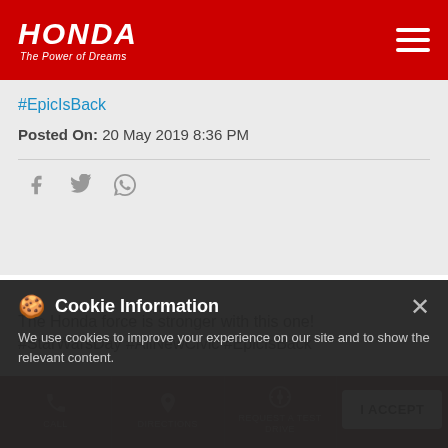HONDA — The Power of Dreams
#EpicIsBack
Posted On: 20 May 2019 8:36 PM
[Figure (other): Social share icons: Facebook, Twitter, WhatsApp]
The Honda force is stronger with this one! #StarWarsDay #AllNewCivic #EpicIsBack
Cookie Information — We use cookies to improve your experience on our site and to show the relevant content.
CALL | DIRECTIONS | REQUEST A TEST DRIVE | I ACCEPT